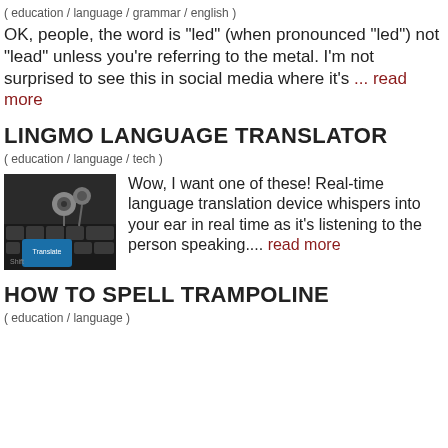( education / language / grammar / english )
OK, people, the word is "led" (when pronounced "led") not "lead" unless you're referring to the metal. I'm not surprised to see this in social media where it's ... read more
LINGMO LANGUAGE TRANSLATOR
( education / language / tech )
[Figure (photo): Photo of a keyboard with a blue 'Translate' key and earbuds]
Wow, I want one of these! Real-time language translation device whispers into your ear in real time as it's listening to the person speaking.... read more
HOW TO SPELL TRAMPOLINE
( education / language )